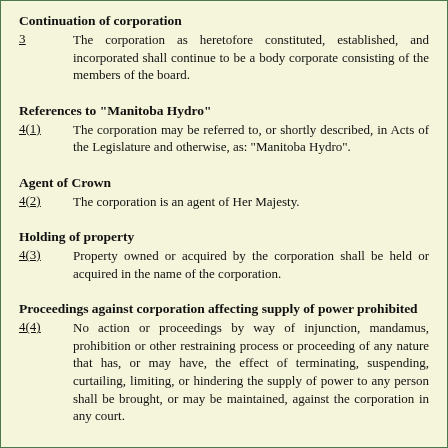Continuation of corporation
3	The corporation as heretofore constituted, established, and incorporated shall continue to be a body corporate consisting of the members of the board.
References to "Manitoba Hydro"
4(1)	The corporation may be referred to, or shortly described, in Acts of the Legislature and otherwise, as: "Manitoba Hydro".
Agent of Crown
4(2)	The corporation is an agent of Her Majesty.
Holding of property
4(3)	Property owned or acquired by the corporation shall be held or acquired in the name of the corporation.
Proceedings against corporation affecting supply of power prohibited
4(4)	No action or proceedings by way of injunction, mandamus, prohibition or other restraining process or proceeding of any nature that has, or may have, the effect of terminating, suspending, curtailing, limiting, or hindering the supply of power to any person shall be brought, or may be maintained, against the corporation in any court.
Where Corporations Act applies
4(5)	Subject to the limitations set forth in this Act, subsections 15(2) and 16(1) and (2), sections 17 and 18 and